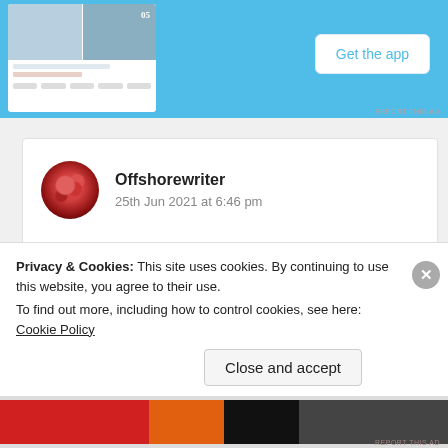[Figure (screenshot): Mobile app advertisement banner with blue background, phone mockup on left, and 'Get the app' button on right]
Offshorewriter
25th Jun 2021 at 6:46 pm
Inspiring poem dear Suma. ❤❤ I love the choice of words to describe the whole in a brilliant title. 😍
Excellent writing dear.
Privacy & Cookies: This site uses cookies. By continuing to use this website, you agree to their use.
To find out more, including how to control cookies, see here: Cookie Policy
Close and accept